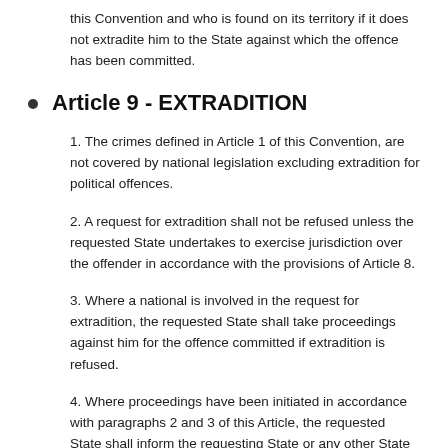this Convention and who is found on its territory if it does not extradite him to the State against which the offence has been committed.
Article 9 - EXTRADITION
1. The crimes defined in Article 1 of this Convention, are not covered by national legislation excluding extradition for political offences.
2. A request for extradition shall not be refused unless the requested State undertakes to exercise jurisdiction over the offender in accordance with the provisions of Article 8.
3. Where a national is involved in the request for extradition, the requested State shall take proceedings against him for the offence committed if extradition is refused.
4. Where proceedings have been initiated in accordance with paragraphs 2 and 3 of this Article, the requested State shall inform the requesting State or any other State member of the OAU interested in the proceedings, of the result thereof.
5. A State shall be deemed interested in the proceedings within the meaning of paragraph 4 of this Article if the offence is linked in any way with its territory or is directed against its interests.